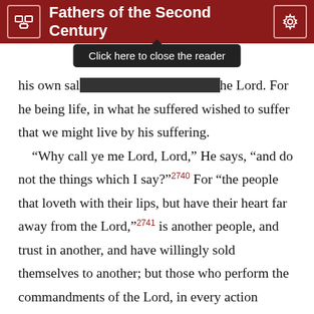Fathers of the Second Century
[Figure (screenshot): Tooltip popup saying 'Click here to close the reader' over the header area]
his own salvation, endures for love of the Lord. For he being life, in what he suffered wished to suffer that we might live by his suffering. “Why call ye me Lord, Lord,” He says, “and do not the things which I say?”2740 For “the people that loveth with their lips, but have their heart far away from the Lord,”2741 is another people, and trust in another, and have willingly sold themselves to another; but those who perform the commandments of the Lord, in every action “testify,” by doing what He wishes, and consistently naming the Lord’s name; and